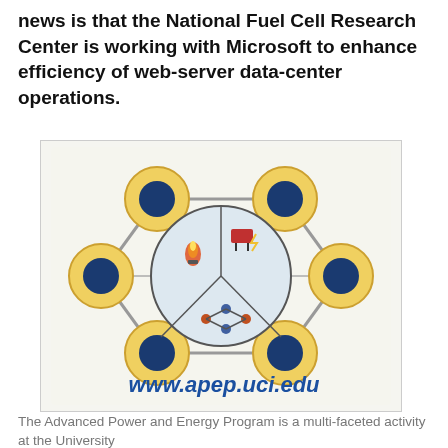news is that the National Fuel Cell Research Center is working with Microsoft to enhance efficiency of web-server data-center operations.
[Figure (infographic): Hexagonal network diagram with six yellow/dark-blue circular nodes at the vertices connected by gray lines forming a hexagon, and a central circular pie-chart icon divided into three sections showing: flame/fire (energy), a plug/connector (electricity), and network nodes (connectivity). Background is light beige.]
www.apep.uci.edu
The Advanced Power and Energy Program is a multi-faceted activity at the University